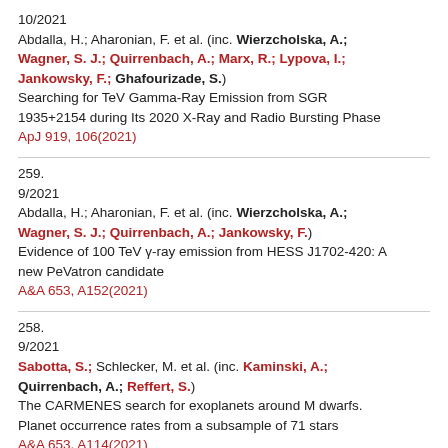10/2021
Abdalla, H.; Aharonian, F. et al. (inc. Wierzcholska, A.; Wagner, S. J.; Quirrenbach, A.; Marx, R.; Lypova, I.; Jankowsky, F.; Ghafourizade, S.)
Searching for TeV Gamma-Ray Emission from SGR 1935+2154 during Its 2020 X-Ray and Radio Bursting Phase
ApJ 919, 106(2021)
259.
9/2021
Abdalla, H.; Aharonian, F. et al. (inc. Wierzcholska, A.; Wagner, S. J.; Quirrenbach, A.; Jankowsky, F.)
Evidence of 100 TeV γ-ray emission from HESS J1702-420: A new PeVatron candidate
A&A 653, A152(2021)
258.
9/2021
Sabotta, S.; Schlecker, M. et al. (inc. Kaminski, A.; Quirrenbach, A.; Reffert, S.)
The CARMENES search for exoplanets around M dwarfs. Planet occurrence rates from a subsample of 71 stars
A&A 653, A114(2021)
257.
9/2021
Baroch, D.; Morales, J. C. et al. (inc. Kaminski, A.;